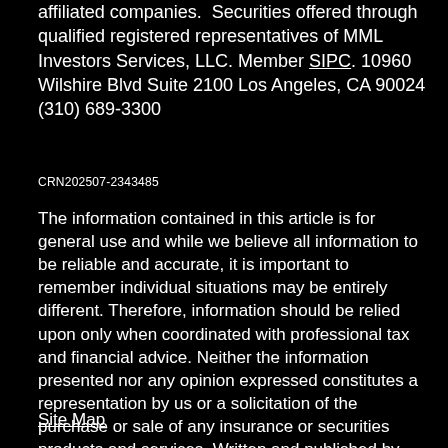affiliated companies.  Securities offered through qualified registered representatives of MML Investors Services, LLC. Member SIPC. 10960 Wilshire Blvd Suite 2100 Los Angeles, CA 90024 (310) 689-3300
CRN202507-2343485
The information contained in this article is for general use and while we believe all information to be reliable and accurate, it is important to remember individual situations may be entirely different. Therefore, information should be relied upon only when coordinated with professional tax and financial advice. Neither the information presented nor any opinion expressed constitutes a representation by us or a solicitation of the purchase or sale of any insurance or securities products and services. Written and published by EmeraldConnect.
Site Map